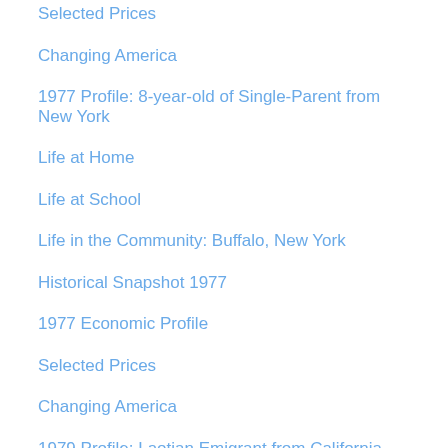Selected Prices
Changing America
1977 Profile: 8-year-old of Single-Parent from New York
Life at Home
Life at School
Life in the Community: Buffalo, New York
Historical Snapshot 1977
1977 Economic Profile
Selected Prices
Changing America
1979 Profile: Laotian Emigrant from California